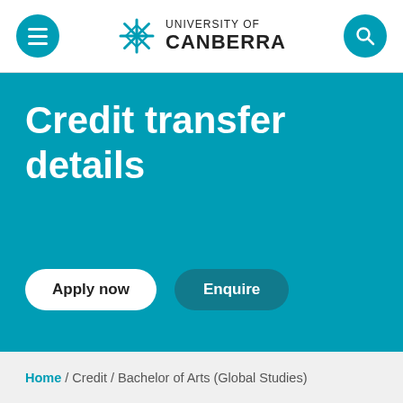University of Canberra
Credit transfer details
Apply now | Enquire
Home / Credit / Bachelor of Arts (Global Studies)